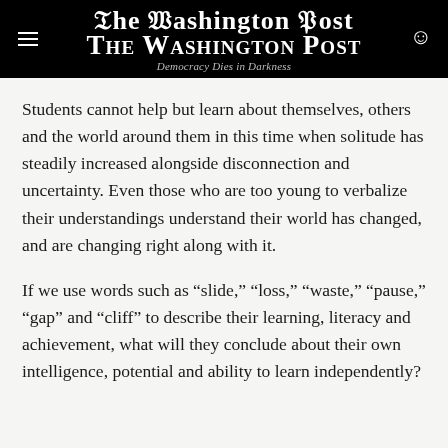The Washington Post — Democracy Dies in Darkness
Students cannot help but learn about themselves, others and the world around them in this time when solitude has steadily increased alongside disconnection and uncertainty. Even those who are too young to verbalize their understandings understand their world has changed, and are changing right along with it.
If we use words such as “slide,” “loss,” “waste,” “pause,” “gap” and “cliff” to describe their learning, literacy and achievement, what will they conclude about their own intelligence, potential and ability to learn independently?